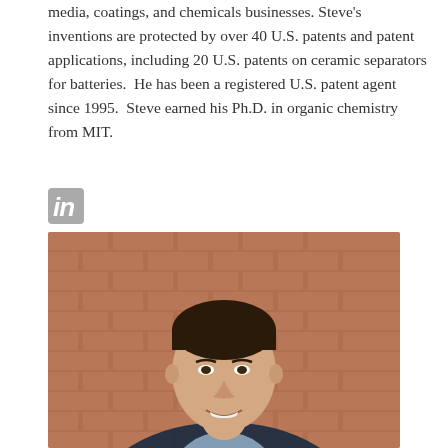media, coatings, and chemicals businesses. Steve's inventions are protected by over 40 U.S. patents and patent applications, including 20 U.S. patents on ceramic separators for batteries.  He has been a registered U.S. patent agent since 1995.  Steve earned his Ph.D. in organic chemistry from MIT.
[Figure (photo): LinkedIn icon (stylized 'in' in gray)]
[Figure (photo): Professional headshot of a young man in a dark suit and light blue shirt, smiling, in front of a brick wall background.]